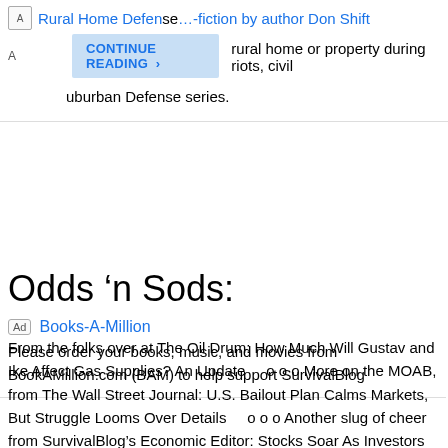[Figure (screenshot): Advertisement banner for Rural Home Defense non-fiction by author Don Shift with a blue CONTINUE READING button, partial text about rural home or property during riots, civil unrest, Suburban Defense series.]
[Figure (screenshot): Advertisement for Books-A-Million with text: Please order your books, music, and movies from BookAMillion.com (BAM) to help support SurvivalBlog]
Odds ‘n Sods:
From the folks over at The Oil Drum: How Much Will Gustav and Ike Affect Gas Supplies? An Update    o o o More on the MOAB, from The Wall Street Journal: U.S. Bailout Plan Calms Markets, But Struggle Looms Over Details    o o o Another slug of cheer from SurvivalBlog’s Economic Editor: Stocks Soar As Investors Look To Gov’t Rescue Plan — Current List of Failed Banks (another bank failure was announced on Friday)    Wall Street Dumps Mortgage Corruption on